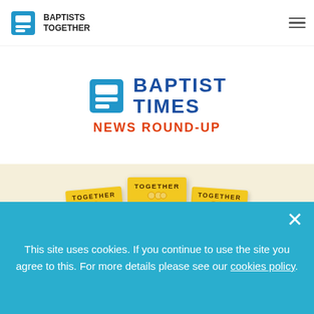BAPTISTS TOGETHER
[Figure (logo): Baptist Times News Round-Up banner with blue BT logo icon and bold blue BAPTIST TIMES text with red NEWS ROUND-UP subtitle]
[Figure (photo): Three yellow 'TOGETHER - Conversation and Connection' magazine covers arranged side by side, slightly fanned out, on a cream background]
[Figure (logo): Your Kingdom Legacy logo with hands holding a plant sprout, text in grey and green]
This site uses cookies. If you continue to use the site you agree to this. For more details please see our cookies policy.